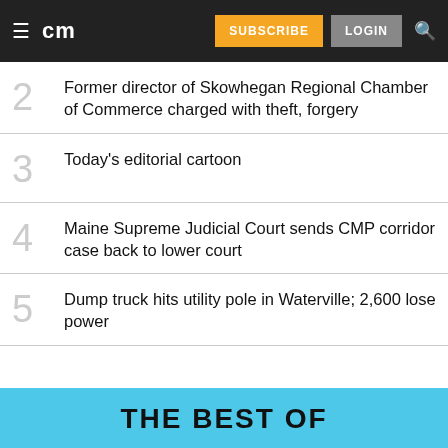cm | SUBSCRIBE | LOGIN
2 Former director of Skowhegan Regional Chamber of Commerce charged with theft, forgery
3 Today's editorial cartoon
4 Maine Supreme Judicial Court sends CMP corridor case back to lower court
5 Dump truck hits utility pole in Waterville; 2,600 lose power
THE BEST OF